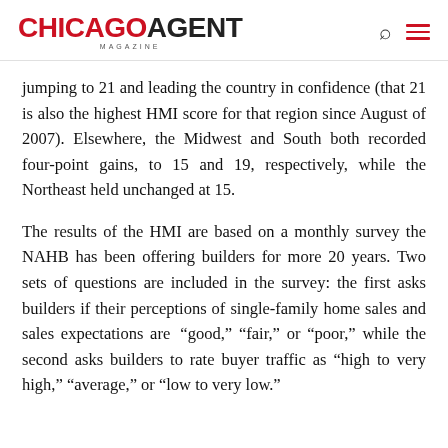CHICAGO AGENT MAGAZINE
jumping to 21 and leading the country in confidence (that 21 is also the highest HMI score for that region since August of 2007). Elsewhere, the Midwest and South both recorded four-point gains, to 15 and 19, respectively, while the Northeast held unchanged at 15.
The results of the HMI are based on a monthly survey the NAHB has been offering builders for more 20 years. Two sets of questions are included in the survey: the first asks builders if their perceptions of single-family home sales and sales expectations are “good,” “fair,” or “poor,” while the second asks builders to rate buyer traffic as “high to very high,” “average,” or “low to very low.”